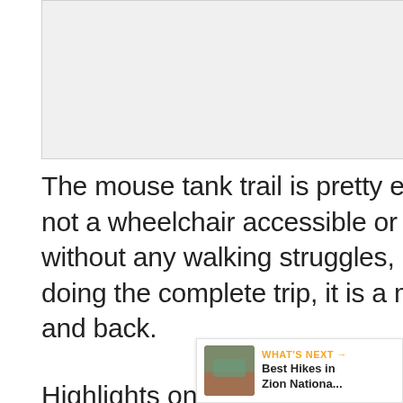[Figure (photo): Placeholder image area, light gray background]
The mouse tank trail is pretty easy for a sure-footed hiker. It is definitely not a wheelchair accessible or mobility friendly trail, but for somebody without any walking struggles, it an easy in and back trail. If you are doing the complete trip, it is a mile and a half from the start to the end and back.
Highlights on the mouse tank trail include